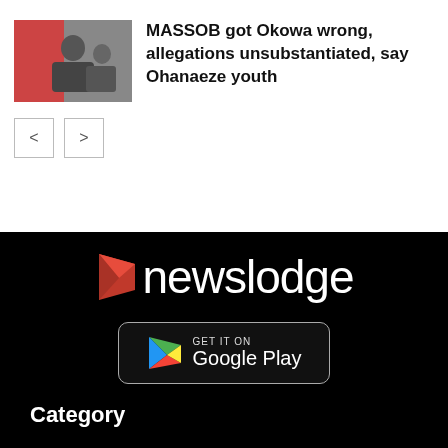[Figure (photo): Thumbnail photo of a man in a meeting room setting]
MASSOB got Okowa wrong, allegations unsubstantiated, say Ohanaeze youth
[Figure (illustration): Navigation previous and next arrow buttons]
[Figure (logo): Newslodge logo with red polygon icon on black background]
[Figure (screenshot): GET IT ON Google Play badge button]
Category